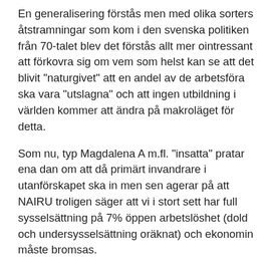En generalisering förstås men med olika sorters åtstramningar som kom i den svenska politiken från 70-talet blev det förstås allt mer ointressant att förkovra sig om vem som helst kan se att det blivit "naturgivet" att en andel av de arbetsföra ska vara "utslagna" och att ingen utbildning i världen kommer att ändra på makroläget för detta.
Som nu, typ Magdalena A m.fl. "insatta" pratar ena dan om att då primärt invandrare i utanförskapet ska in men sen agerar på att NAIRU troligen säger att vi i stort sett har full sysselsättning på 7% öppen arbetslöshet (dold och undersysselsättning oräknat) och ekonomin måste bromsas.